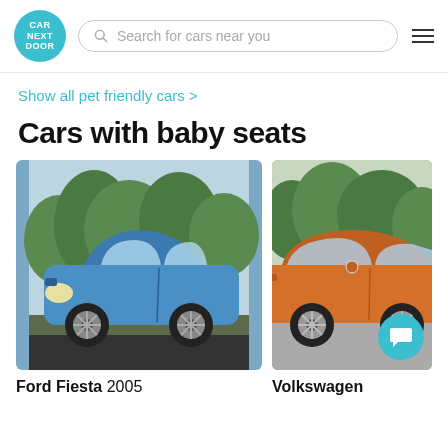CAR NEXT DOOR — Search for cars near you
Show all pet friendly cars >
Cars with baby seats
[Figure (photo): Blue Ford Fiesta 2005 parked on a driveway with green trees in background]
Ford Fiesta 2005
[Figure (photo): Orange Volkswagen hatchback parked on a road with green bushes in background]
Volkswagen